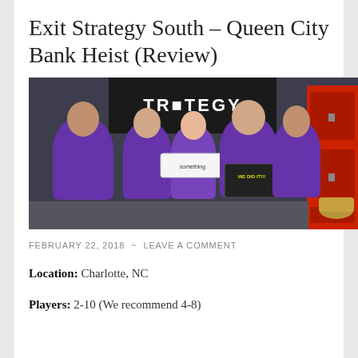Exit Strategy South – Queen City Bank Heist (Review)
[Figure (photo): Group photo of five people in purple t-shirts celebrating inside an escape room, holding a 'WE DID IT!!!' sign with a 'STRATEGY' banner behind them and a red locker visible on the right.]
FEBRUARY 22, 2018  ~  LEAVE A COMMENT
Location: Charlotte, NC
Players: 2-10 (We recommend 4-8)